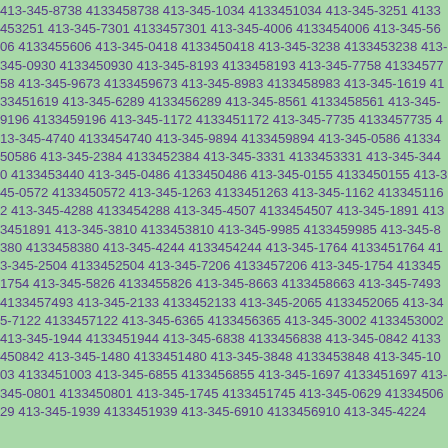413-345-8738 4133458738 413-345-1034 4133451034 413-345-3251 4133453251 413-345-7301 4133457301 413-345-4006 4133454006 413-345-5606 4133455606 413-345-0418 4133450418 413-345-3238 4133453238 413-345-0930 4133450930 413-345-8193 4133458193 413-345-7758 4133457758 413-345-9673 4133459673 413-345-8983 4133458983 413-345-1619 4133451619 413-345-6289 4133456289 413-345-8561 4133458561 413-345-9196 4133459196 413-345-1172 4133451172 413-345-7735 4133457735 413-345-4740 4133454740 413-345-9894 4133459894 413-345-0586 4133450586 413-345-2384 4133452384 413-345-3331 4133453331 413-345-3440 4133453440 413-345-0486 4133450486 413-345-0155 4133450155 413-345-0572 4133450572 413-345-1263 4133451263 413-345-1162 4133451162 413-345-4288 4133454288 413-345-4507 4133454507 413-345-1891 4133451891 413-345-3810 4133453810 413-345-9985 4133459985 413-345-8380 4133458380 413-345-4244 4133454244 413-345-1764 4133451764 413-345-2504 4133452504 413-345-7206 4133457206 413-345-1754 4133451754 413-345-5826 4133455826 413-345-8663 4133458663 413-345-7493 4133457493 413-345-2133 4133452133 413-345-2065 4133452065 413-345-7122 4133457122 413-345-6365 4133456365 413-345-3002 4133453002 413-345-1944 4133451944 413-345-6838 4133456838 413-345-0842 4133450842 413-345-1480 4133451480 413-345-3848 4133453848 413-345-1003 4133451003 413-345-6855 4133456855 413-345-1697 4133451697 413-345-0801 4133450801 413-345-1745 4133451745 413-345-0629 4133450629 413-345-1939 4133451939 413-345-6910 4133456910 413-345-4224